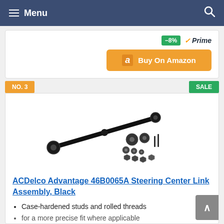Menu
-8% Prime Buy On Amazon
NO. 3   SALE
[Figure (photo): ACDelco Advantage 46B0065A Steering Center Link Assembly, Black product photo showing a long black metal rod with ball joints and accompanying hardware pieces (bolts, nuts, washers)]
ACDelco Advantage 46B0065A Steering Center Link Assembly, Black
Case-hardened studs and rolled threads
for a more precise fit where applicable